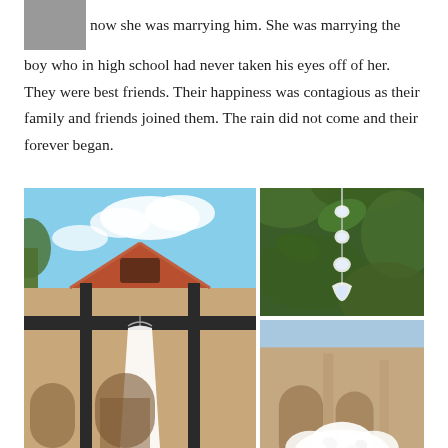once a kid on an elementary playground he had not noticed and now she was marrying him. She was marrying the boy who in high school had never taken his eyes off of her. They were best friends. Their happiness was contagious as their family and friends joined them. The rain did not come and their forever began.
[Figure (photo): Wedding dress hanging from a wooden pergola beam outside a Spanish-style stucco building with terracotta tile roof, blue sky with clouds in background]
[Figure (photo): Close-up of crystal drop earrings hanging from green foliage]
[Figure (photo): Partial view of wedding venue exterior with arched doorways and white floral arrangement]